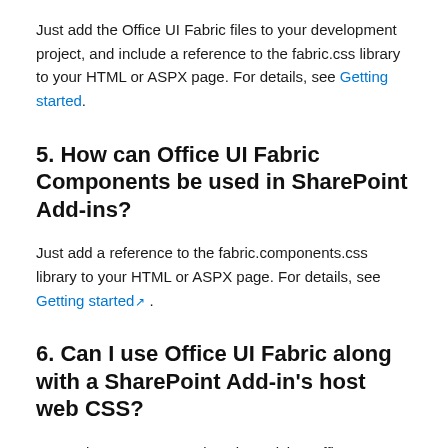Just add the Office UI Fabric files to your development project, and include a reference to the fabric.css library to your HTML or ASPX page. For details, see Getting started.
5. How can Office UI Fabric Components be used in SharePoint Add-ins?
Just add a reference to the fabric.components.css library to your HTML or ASPX page. For details, see Getting started.
6. Can I use Office UI Fabric along with a SharePoint Add-in's host web CSS?
Currently, we recommend against mixing Office UI Fabric with host web CSS. This is to prevent class name collisions and style mismatches.
7. Does Office UI Fabric support SharePoint...